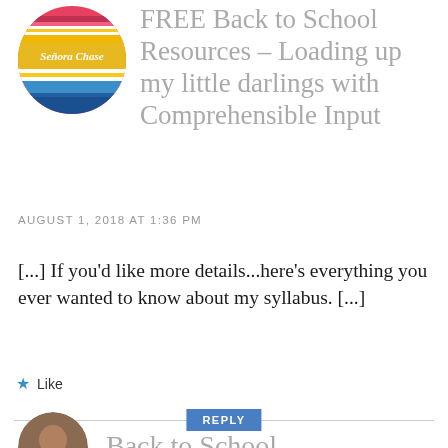[Figure (illustration): Circular avatar logo for 'Señora Chase' with colorful striped background and yellow banner with white italic text]
FREE Back to School Resources – Loading up my little darlings with Comprehensible Input
AUGUST 1, 2018 AT 1:36 PM
[...] If you'd like more details...here's everything you ever wanted to know about my syllabus. [...]
Like
REPLY
[Figure (photo): Partial circular avatar photo of a person at bottom of page]
Back to School